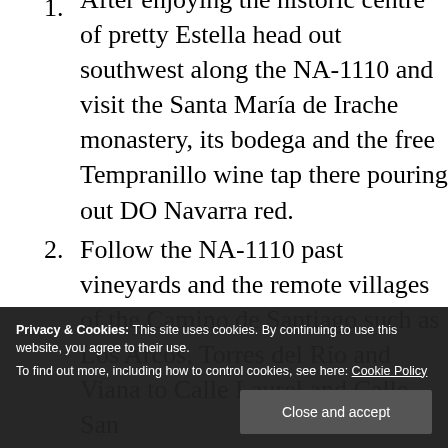1. After enjoying the historic centre of pretty Estella head out southwest along the NA-1110 and visit the Santa María de Irache monastery, its bodega and the free Tempranillo wine tap there pouring out DO Navarra red.
2. Follow the NA-1110 past vineyards and the remote villages of the Camino de Santiago such as Los Arcos, Torres del Río and Viana to Calle Laurel and Calle San
Privacy & Cookies: This site uses cookies. By continuing to use this website, you agree to their use. To find out more, including how to control cookies, see here: Cookie Policy